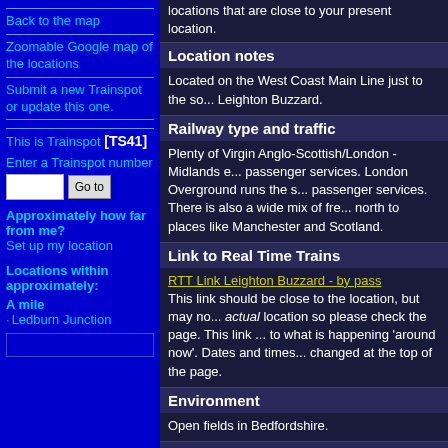Back to the map
Zoomable Google map of the locations
Submit a new Trainspot or update this one.
This is Trainspot [TS41]
Enter a Trainspot number
Approximately how far from me? Set up my location
Locations within approximately:
A mile
Ledburn Junction
locations that are close to your present location.
Location notes
Located on the West Coast Main Line just to the so... Leighton Buzzard.
Railway type and traffic
Plenty of Virgin Anglo-Scottish/London - Midlands e... passenger services. London Overground runs the s... passenger services. There is also a wide mix of fre... north to places like Manchester and Scotland.
Link to Real Time Trains
RTT Link Leighton Buzzard - by pass
This link should be close to the location, but may no... actual location so please check the page. This link ... to what is happening 'around now'. Dates and times... changed at the top of the page.
Environment
Open fields in Bedfordshire.
Road directions
From the A505 (Leighton Buzzard By pass) rounda... with the B488 (you can see the WCML from this rou... take the B488. After 50 turn right into the road that...